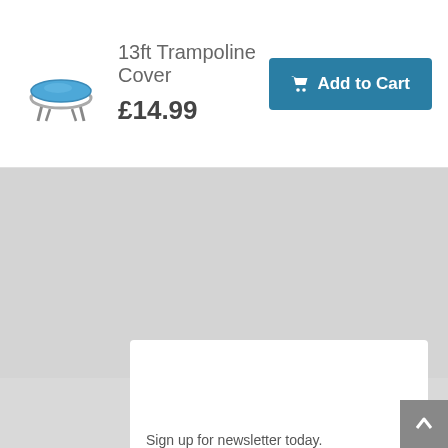[Figure (photo): Small product image of a blue 13ft trampoline cover on a trampoline frame]
13ft Trampoline Cover
£14.99
Add to Cart
[Figure (screenshot): Partially visible tooltip or info card with light text on a brownish background]
Sign up for newsletter today.
Email Address
Go!